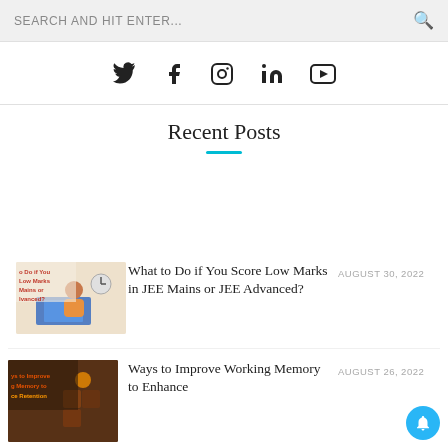SEARCH AND HIT ENTER...
[Figure (illustration): Social media icons: Twitter, Facebook, Instagram, LinkedIn, YouTube]
Recent Posts
[Figure (illustration): Thumbnail image for article: What to Do if You Score Low Marks in JEE Mains or JEE Advanced?]
What to Do if You Score Low Marks in JEE Mains or JEE Advanced?
AUGUST 30, 2022
[Figure (illustration): Thumbnail image for article: Ways to Improve Working Memory to Enhance Retention]
Ways to Improve Working Memory to Enhance
AUGUST 26, 2022